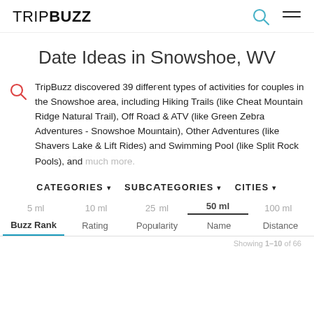TRIPBUZZ
Date Ideas in Snowshoe, WV
TripBuzz discovered 39 different types of activities for couples in the Snowshoe area, including Hiking Trails (like Cheat Mountain Ridge Natural Trail), Off Road & ATV (like Green Zebra Adventures - Snowshoe Mountain), Other Adventures (like Shavers Lake & Lift Rides) and Swimming Pool (like Split Rock Pools), and much more.
Categories  Subcategories  Cities
5 ml  10 ml  25 ml  50 ml  100 ml
Buzz Rank  Rating  Popularity  Name  Distance